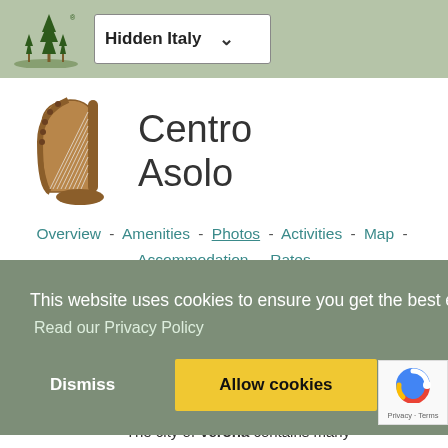Hidden Italy
Centro Asolo
Overview - Amenities - Photos - Activities - Map - Accommodation - Rates
This website uses cookies to ensure you get the best experience on our website. Read our Privacy Policy
Dismiss  Allow cookies
The city of Verona contains many